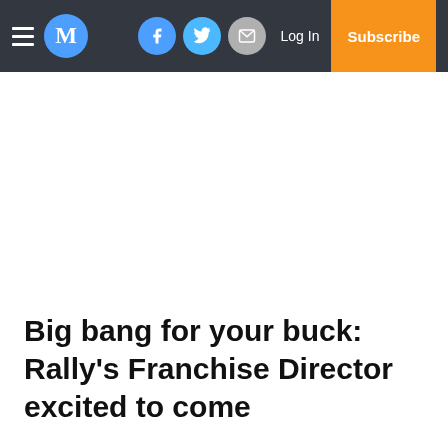M — Log In — Subscribe
Big bang for your buck: Rally's Franchise Director excited to come